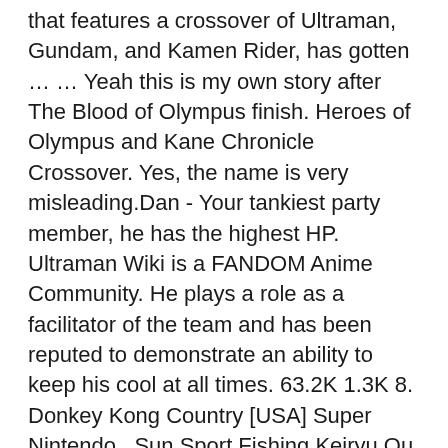that features a crossover of Ultraman, Gundam, and Kamen Rider, has gotten … … Yeah this is my own story after The Blood of Olympus finish. Heroes of Olympus and Kane Chronicle Crossover. Yes, the name is very misleading.Dan - Your tankiest party member, he has the highest HP. Ultraman Wiki is a FANDOM Anime Community. He plays a role as a facilitator of the team and has been reputed to demonstrate an ability to keep his cool at all times. 63.2K 1.3K 8. Donkey Kong Country [USA] Super Nintendo . Sun Sport Fishing Keiryu Ou (Nintendo Super Famicom SNES SFC, 1994) Japan Import. Hero Senki - Project Olympus (Japan): CRC 32: 789da99c. In fact